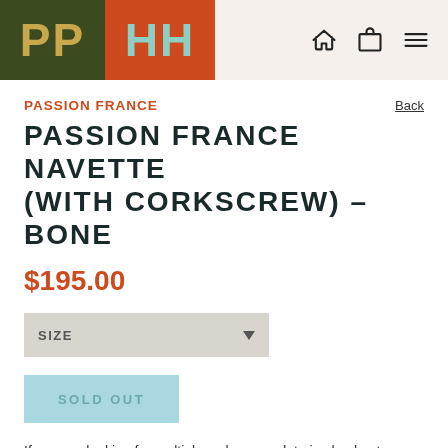[Figure (logo): PP HH logo with dark green and orange-red background blocks]
PASSION FRANCE
Back
PASSION FRANCE NAVETTE (WITH CORKSCREW) – BONE
$195.00
SIZE
SOLD OUT
If you are looking for multiples, please update in checkout